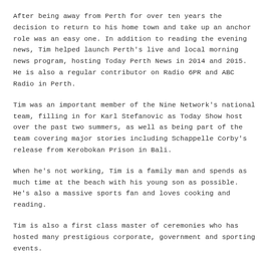After being away from Perth for over ten years the decision to return to his home town and take up an anchor role was an easy one. In addition to reading the evening news, Tim helped launch Perth's live and local morning news program, hosting Today Perth News in 2014 and 2015. He is also a regular contributor on Radio 6PR and ABC Radio in Perth.
Tim was an important member of the Nine Network's national team, filling in for Karl Stefanovic as Today Show host over the past two summers, as well as being part of the team covering major stories including Schappelle Corby's release from Kerobokan Prison in Bali.
When he's not working, Tim is a family man and spends as much time at the beach with his young son as possible. He's also a massive sports fan and loves cooking and reading.
Tim is also a first class master of ceremonies who has hosted many prestigious corporate, government and sporting events.